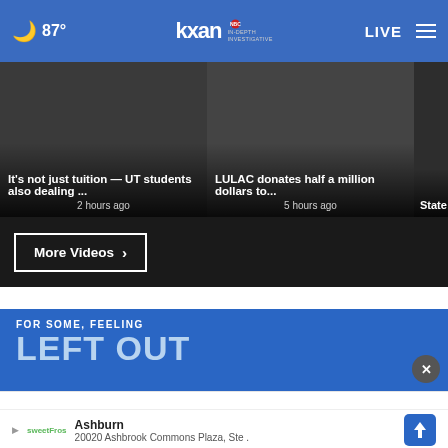87° KXAN IN-DEPTH INVESTIGATIVE LIVE
[Figure (screenshot): Video thumbnail strip showing news videos: 'It's not just tuition — UT students also dealing ... 2 hours ago', 'LULAC donates half a million dollars to... 5 hours ago', 'State Exit: T...']
It's not just tuition — UT students also dealing ...
2 hours ago
LULAC donates half a million dollars to...
5 hours ago
State Exit: T
More Videos ›
[Figure (advertisement): Advertisement with blue background reading 'FOR SOME, FEELING LEFT OUT LASTS MORE THAN A MOMENT.' with a close X button]
FOR SOME, FEELING
LEFT OUT
LASTS MORE THAN A MOMENT.
Ashburn
20020 Ashbrook Commons Plaza, Ste .